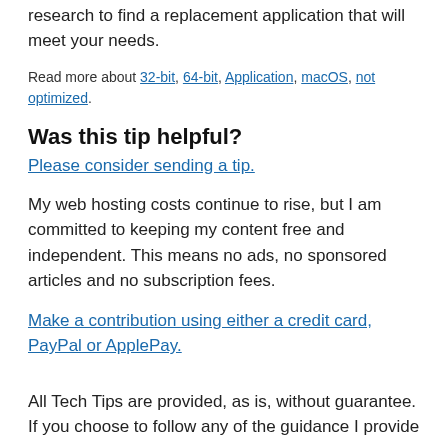research to find a replacement application that will meet your needs.
Read more about 32-bit, 64-bit, Application, macOS, not optimized.
Was this tip helpful?
Please consider sending a tip.
My web hosting costs continue to rise, but I am committed to keeping my content free and independent. This means no ads, no sponsored articles and no subscription fees.
Make a contribution using either a credit card, PayPal or ApplePay.
All Tech Tips are provided, as is, without guarantee. If you choose to follow any of the guidance I provide